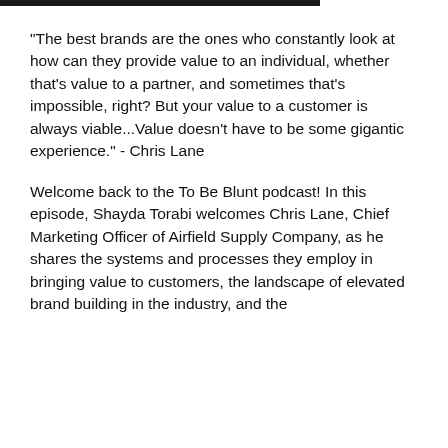“The best brands are the ones who constantly look at how can they provide value to an individual, whether that's value to a partner, and sometimes that's impossible, right? But your value to a customer is always viable...Value doesn't have to be some gigantic experience.” - Chris Lane
Welcome back to the To Be Blunt podcast! In this episode, Shayda Torabi welcomes Chris Lane, Chief Marketing Officer of Airfield Supply Company, as he shares the systems and processes they employ in bringing value to customers, the landscape of elevated brand building in the industry, and the